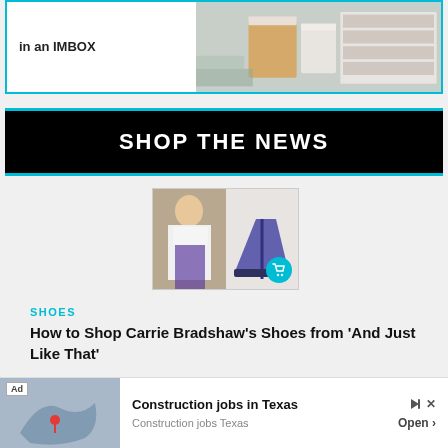[Figure (screenshot): Top advertisement box with text 'in an IMBOX' and a store interior photo showing shelves with products]
SHOP THE NEWS
[Figure (photo): Article thumbnail showing a woman in white blouse and colorful skirt next to high heel shoes, with a teal shopping cart icon]
SHOES
How to Shop Carrie Bradshaw's Shoes from ‘And Just Like That’
[Figure (photo): Partial product image of a teal/blue athletic shoe with shopping icon]
[Figure (screenshot): Ad banner: Construction jobs in Texas, with Texas map graphic, Ad label, play and close icons, Open button]